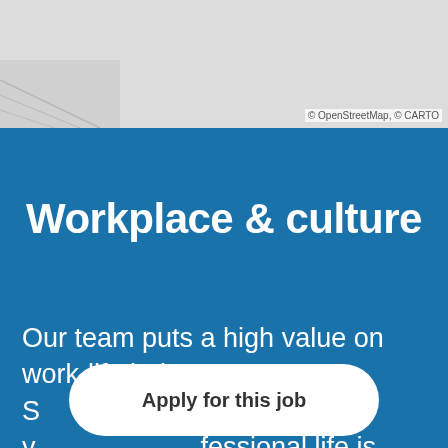[Figure (map): Partial map view showing a grey/light-colored map area with OpenStreetMap and CARTO attribution in the bottom right corner.]
© OpenStreetMap, © CARTO
Workplace & culture
Our team puts a high value on work-life balance. S[Apply for this job overlay]ance between y[...]fessional life is crucial to your happiness and
[Figure (other): A rounded white button with bold text 'Apply for this job' overlaying the body text.]